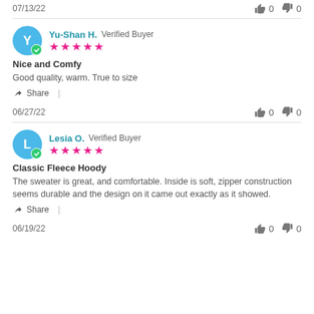07/13/22  👍 0  👎 0
Yu-Shan H. Verified Buyer ★★★★★
Nice and Comfy
Good quality, warm. True to size
Share |
06/27/22  👍 0  👎 0
Lesia O. Verified Buyer ★★★★★
Classic Fleece Hoody
The sweater is great, and comfortable. Inside is soft, zipper construction seems durable and the design on it came out exactly as it showed.
Share |
06/19/22  👍 0  👎 0